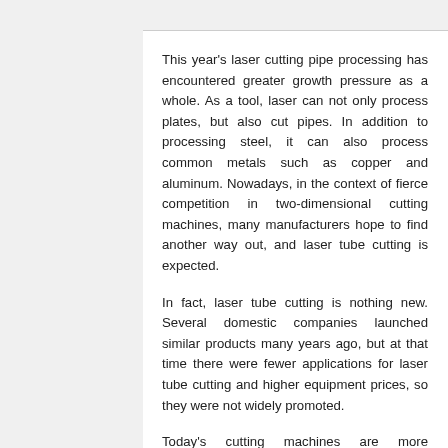This year's laser cutting pipe processing has encountered greater growth pressure as a whole. As a tool, laser can not only process plates, but also cut pipes. In addition to processing steel, it can also process common metals such as copper and aluminum. Nowadays, in the context of fierce competition in two-dimensional cutting machines, many manufacturers hope to find another way out, and laser tube cutting is expected.
In fact, laser tube cutting is nothing new. Several domestic companies launched similar products many years ago, but at that time there were fewer applications for laser tube cutting and higher equipment prices, so they were not widely promoted.
Today's cutting machines are more advanced, basically using fiber lasers, and the speed is relatively fast. Most of the applications are for temporary positioning of stainless steel pipe cutting. These materials are widely used in kitchen utensils, bathrooms, handrails, doors and windows